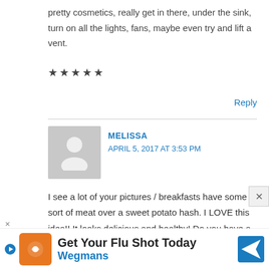pretty cosmetics, really get in there, under the sink, turn on all the lights, fans, maybe even try and lift a vent.
★★★★★
Reply
MELISSA
APRIL 5, 2017 AT 3:53 PM
I see a lot of your pictures / breakfasts have some sort of meat over a sweet potato hash. I LOVE this idea!! It looks delicious and healthy! Do you have a tried / trued recipe for sweet potato hash? And can I use "noodles" that I bought from Whole Foods – it's basically spiralized Sweet Potato, Butternut Squash and Zuchinni. Figured it would save me a step...
[Figure (illustration): Gray placeholder avatar icon showing a generic person silhouette]
[Figure (infographic): Wegmans flu shot advertisement banner with orange logo, play button, text 'Get Your Flu Shot Today' and blue diamond arrow icon]